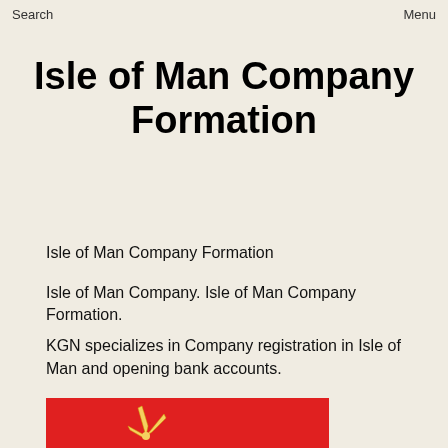Search    Menu
Isle of Man Company Formation
Isle of Man Company Formation
Isle of Man Company. Isle of Man Company Formation.
KGN specializes in Company registration in Isle of Man and opening bank accounts.
[Figure (illustration): Isle of Man flag on red background showing triskelion (three legs) symbol]